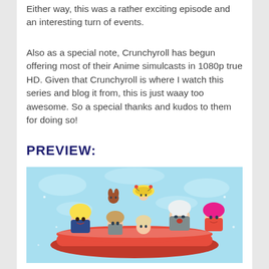Either way, this was a rather exciting episode and an interesting turn of events.
Also as a special note, Crunchyroll has begun offering most of their Anime simulcasts in 1080p true HD. Given that Crunchyroll is where I watch this series and blog it from, this is just waay too awesome. So a special thanks and kudos to them for doing so!
PREVIEW:
[Figure (illustration): Chibi-style anime characters in a boat/vehicle scene with light blue background, featuring characters with blonde, silver, and pink hair along with small animal companions.]